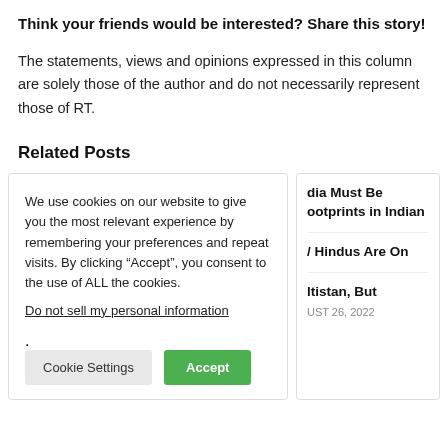Think your friends would be interested? Share this story!
The statements, views and opinions expressed in this column are solely those of the author and do not necessarily represent those of RT.
Related Posts
We use cookies on our website to give you the most relevant experience by remembering your preferences and repeat visits. By clicking “Accept”, you consent to the use of ALL the cookies.
Do not sell my personal information.
[Cookie Settings] [Accept]
dia Must Be ootprints in Indian
/ Hindus Are On
ltistan, But
UST 26, 2022